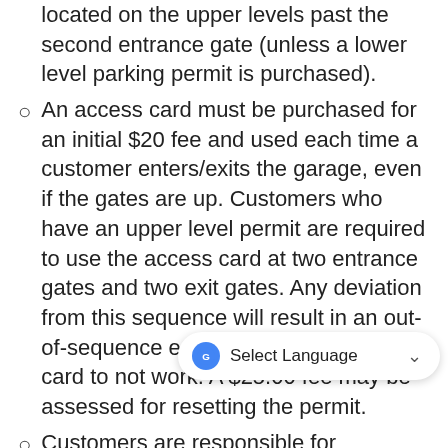located on the upper levels past the second entrance gate (unless a lower level parking permit is purchased).
An access card must be purchased for an initial $20 fee and used each time a customer enters/exits the garage, even if the gates are up. Customers who have an upper level permit are required to use the access card at two entrance gates and two exit gates. Any deviation from this sequence will result in an out-of-sequence error, causing the access card to not work. A $25.00 fee may be assessed for resetting the permit.
Customers are responsible for damaged, lost or stolen access cards/permits. A new proximity permit can... a new paper permit costs $25.
The City of East Lansing is not